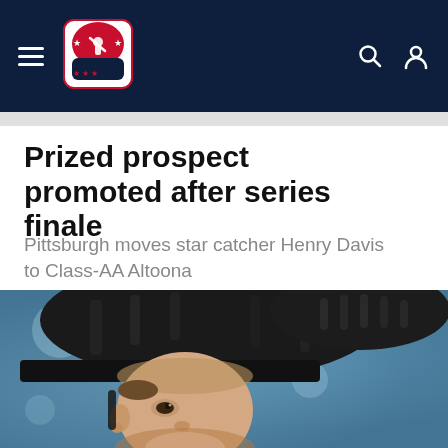Minor League Baseball navigation bar with hamburger menu, MiLB logo, search icon, and user icon
Prized prospect promoted after series finale
Pittsburgh moves star catcher Henry Davis to Class-AA Altoona
[Figure (photo): Close-up photo of a baseball catcher wearing a black catcher's helmet and gear, looking upward slightly, with a blurred blue background]